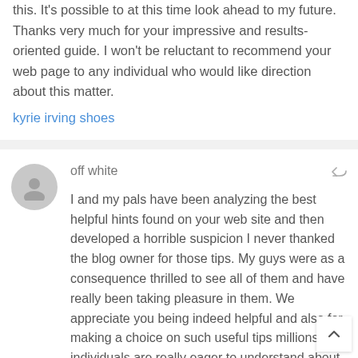this. It's possible to at this time look ahead to my future. Thanks very much for your impressive and results-oriented guide. I won't be reluctant to recommend your web page to any individual who would like direction about this matter.
kyrie irving shoes
off white
I and my pals have been analyzing the best helpful hints found on your web site and then developed a horrible suspicion I never thanked the blog owner for those tips. My guys were as a consequence thrilled to see all of them and have really been taking pleasure in them. We appreciate you being indeed helpful and also for making a choice on such useful tips millions of individuals are really eager to understand about. Our own honest apologies for not saying thanks to soon
off white